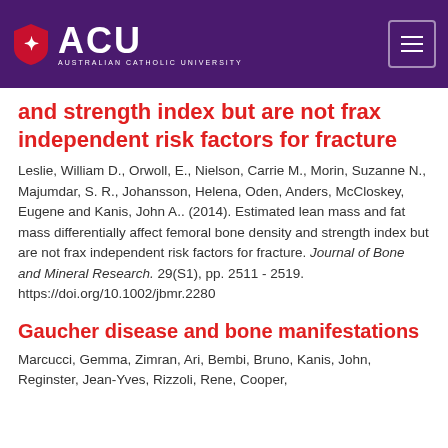ACU - Australian Catholic University
and strength index but are not frax independent risk factors for fracture
Leslie, William D., Orwoll, E., Nielson, Carrie M., Morin, Suzanne N., Majumdar, S. R., Johansson, Helena, Oden, Anders, McCloskey, Eugene and Kanis, John A.. (2014). Estimated lean mass and fat mass differentially affect femoral bone density and strength index but are not frax independent risk factors for fracture. Journal of Bone and Mineral Research. 29(S1), pp. 2511 - 2519. https://doi.org/10.1002/jbmr.2280
Gaucher disease and bone manifestations
Marcucci, Gemma, Zimran, Ari, Bembi, Bruno, Kanis, John, Reginster, Jean-Yves, Rizzoli, Rene, Cooper,